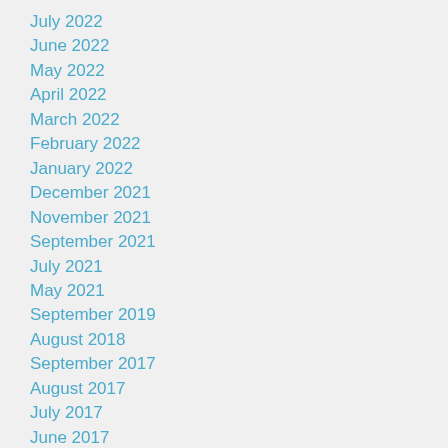July 2022
June 2022
May 2022
April 2022
March 2022
February 2022
January 2022
December 2021
November 2021
September 2021
July 2021
May 2021
September 2019
August 2018
September 2017
August 2017
July 2017
June 2017
September 2016
December 2014
August 2014
July 2014
June 2014